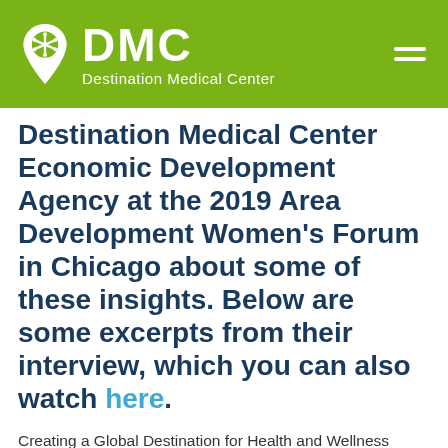DMC Destination Medical Center
Destination Medical Center Economic Development Agency at the 2019 Area Development Women's Forum in Chicago about some of these insights. Below are some excerpts from their interview, which you can also watch here.
Creating a Global Destination for Health and Wellness Destination Medical Center (DMC) is the largest economic development initiative in the state of Minnesota. It's a $5- to 6-billion investment in Rochester, Minnesota, [and it has] a $585-million public investment attached to that. So, it's a